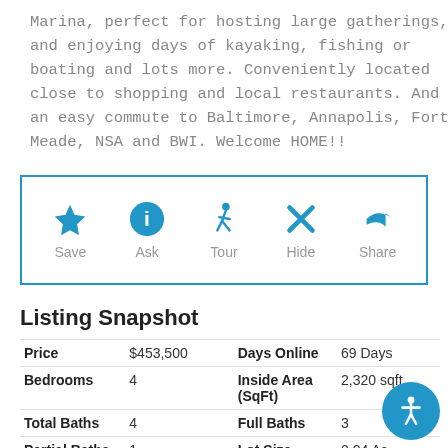Marina, perfect for hosting large gatherings, and enjoying days of kayaking, fishing or boating and lots more. Conveniently located close to shopping and local restaurants. And an easy commute to Baltimore, Annapolis, Fort Meade, NSA and BWI. Welcome HOME!!
[Figure (infographic): Action buttons row: Save (star icon), Ask (info icon), Tour (walking person icon), Hide (X icon), Share (arrow icon), each with label below]
Listing Snapshot
| Price | $453,500 | Days Online | 69 Days |
| Bedrooms | 4 | Inside Area (SqFt) | 2,320 sqft |
| Total Baths | 4 | Full Baths | 3 |
| Partial Baths | 1 | Lot Size | 0.04 Ac. |
| Year Built | 2019 | MLS Number | MDAA2035104 |